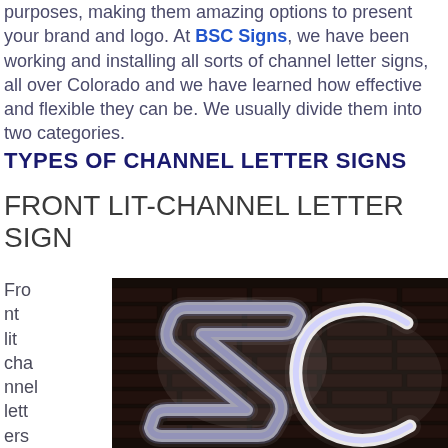purposes, making them amazing options to present your brand and logo. At BSC Signs, we have been working and installing all sorts of channel letter signs, all over Colorado and we have learned how effective and flexible they can be. We usually divide them into two categories.
TYPES OF CHANNEL LETTER SIGNS
FRONT LIT-CHANNEL LETTER SIGN
Front lit channel letters are the mos
[Figure (photo): A dark photo showing illuminated channel letter signs mounted on a brick wall. The letters appear to be glowing white neon-style cursive letters 'ZC' against a dark background.]